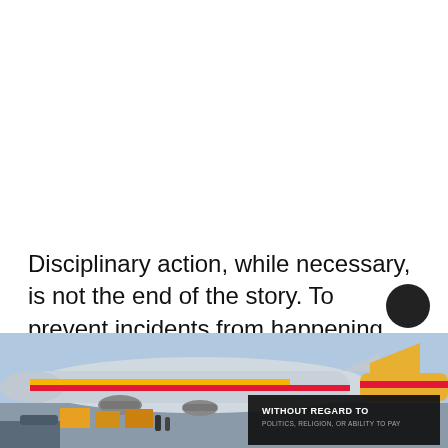Disciplinary action, while necessary, is not the end of the story. To prevent incidents from happening again, deterrents are insufficient. Stepping down is not enough. Terminating
[Figure (photo): Advertisement banner showing cargo aircraft being loaded at an airport, with text 'WITHOUT REGARD TO POLITICS, RELIGION, OR ABILITY TO PAY']